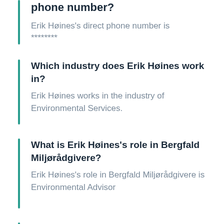phone number?
Erik Høines's direct phone number is ********
Which industry does Erik Høines work in?
Erik Høines works in the industry of Environmental Services.
What is Erik Høines's role in Bergfald Miljørådgivere?
Erik Høines's role in Bergfald Miljørådgivere is Environmental Advisor
What is Erik Høines's business email address?